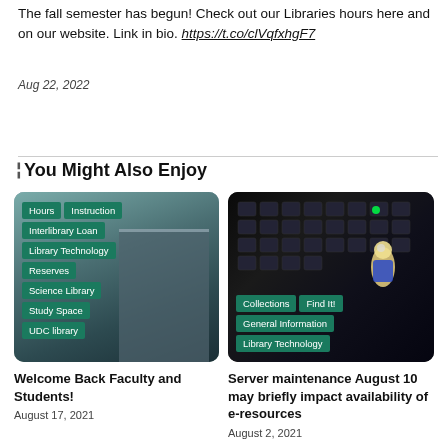The fall semester has begun! Check out our Libraries hours here and on our website. Link in bio. https://t.co/clVqfxhgF7
Aug 22, 2022
You Might Also Enjoy
[Figure (photo): Library building exterior with green category tags overlaid: Hours, Instruction, Interlibrary Loan, Library Technology, Reserves, Science Library, Study Space, UDC library]
Welcome Back Faculty and Students!
August 17, 2021
[Figure (photo): Dark keyboard with a small LEGO-like figure, with green category tags overlaid: Collections, Find It!, General Information, Library Technology]
Server maintenance August 10 may briefly impact availability of e-resources
August 2, 2021